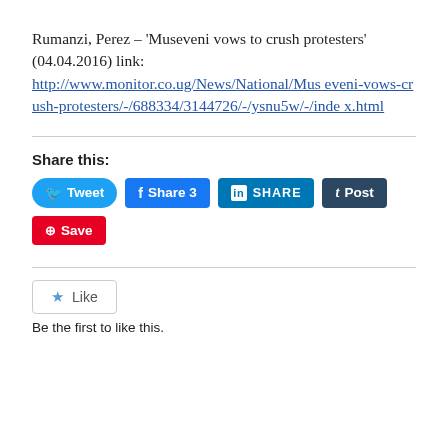Rumanzi, Perez – 'Museveni vows to crush protesters' (04.04.2016) link: http://www.monitor.co.ug/News/National/Museveni-vows-crush-protesters/-/688334/3144726/-/ysnu5w/-/index.html
Share this:
[Figure (screenshot): Social share buttons: Tweet (Twitter/blue pill), Share 3 (Facebook/blue), SHARE (LinkedIn/blue), Post (Tumblr/dark blue), Save (Pinterest/red)]
Be the first to like this.